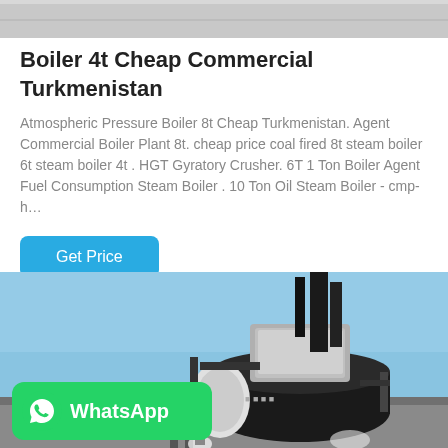[Figure (photo): Partial view of a gray surface or ceiling — top cropped image]
Boiler 4t Cheap Commercial Turkmenistan
Atmospheric Pressure Boiler 8t Cheap Turkmenistan. Agent Commercial Boiler Plant 8t. cheap price coal fired 8t steam boiler 6t steam boiler 4t . HGT Gyratory Crusher. 6T 1 Ton Boiler Agent Fuel Consumption Steam Boiler . 10 Ton Oil Steam Boiler - cmp-h…
Get Price
[Figure (photo): Outdoor industrial boiler equipment with tall black chimney stacks and large cylindrical boiler body, blue sky background, workers visible at bottom. WhatsApp banner overlay at bottom left.]